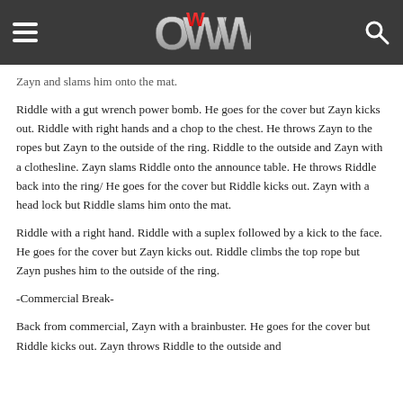OWW
Zayn and slams him onto the mat.
Riddle with a gut wrench power bomb. He goes for the cover but Zayn kicks out. Riddle with right hands and a chop to the chest. He throws Zayn to the ropes but Zayn to the outside of the ring. Riddle to the outside and Zayn with a clothesline. Zayn slams Riddle onto the announce table. He throws Riddle back into the ring/ He goes for the cover but Riddle kicks out. Zayn with a head lock but Riddle slams him onto the mat.
Riddle with a right hand. Riddle with a suplex followed by a kick to the face. He goes for the cover but Zayn kicks out. Riddle climbs the top rope but Zayn pushes him to the outside of the ring.
-Commercial Break-
Back from commercial, Zayn with a brainbuster. He goes for the cover but Riddle kicks out. Zayn throws Riddle to the outside and